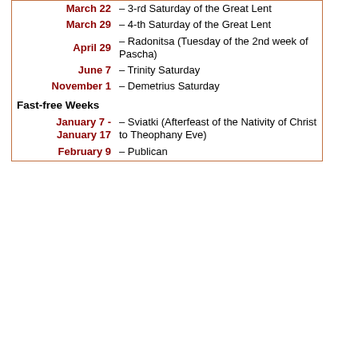| Date | Description |
| --- | --- |
| March 22 | – 3-rd Saturday of the Great Lent |
| March 29 | – 4-th Saturday of the Great Lent |
| April 29 | – Radonitsa (Tuesday of the 2nd week of Pascha) |
| June 7 | – Trinity Saturday |
| November 1 | – Demetrius Saturday |
Fast-free Weeks
| Date | Description |
| --- | --- |
| January 7 - January 17 | – Sviatki (Afterfeast of the Nativity of Christ to Theophany Eve) |
| February 9 | – Publican |